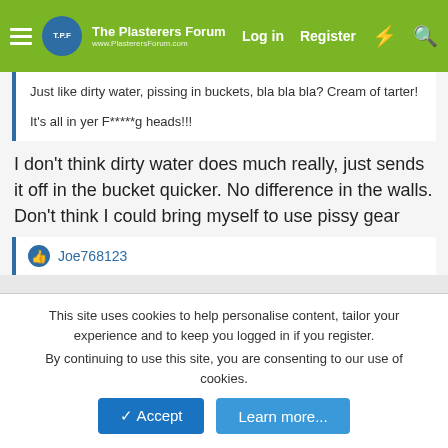The Plasterers Forum | Log in | Register
Just like dirty water, pissing in buckets, bla bla bla? Cream of tarter!

It's all in yer F*****g heads!!!
I don't think dirty water does much really, just sends it off in the bucket quicker. No difference in the walls. Don't think I could bring myself to use pissy gear
Joe768123
scottie5
Private Member
Apr 1, 2018
#17
This site uses cookies to help personalise content, tailor your experience and to keep you logged in if you register.
By continuing to use this site, you are consenting to our use of cookies.